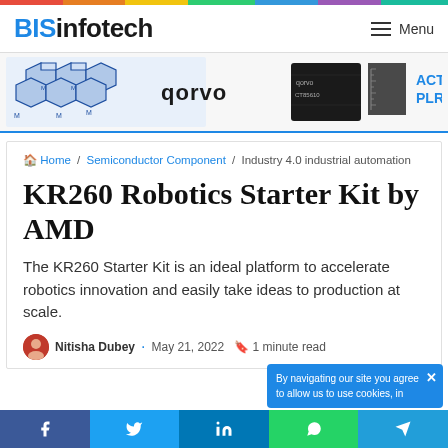BISinfotech — Menu
[Figure (screenshot): Horizontal banner with semiconductor brand logos including Molex, Qorvo and others]
Home / Semiconductor Component / Industry 4.0 industrial automation
KR260 Robotics Starter Kit by AMD
The KR260 Starter Kit is an ideal platform to accelerate robotics innovation and easily take ideas to production at scale.
Nitisha Dubey · May 21, 2022  1 minute read
By navigating our site you agree to allow us to use cookies, in